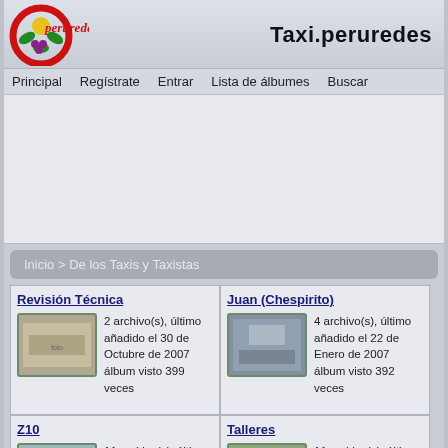[Figure (logo): Peruredes logo - red circular design with flowers/grapes and cursive 'peruredes' text]
Taxi.peruredes
Principal   Regístrate   Entrar   Lista de álbumes   Buscar
[Figure (other): Advertisement/blank area]
Inicio > De los Taxis y Taxistas
Revisión Técnica
2 archivo(s), último añadido el 30 de Octubre de 2007 álbum visto 399 veces
Juan (Chespirito)
4 archivo(s), último añadido el 22 de Enero de 2007 álbum visto 392 veces
Z10
11 archivo(s), último añadido el 28 de Marzo de 2007 álbum visto 403
Talleres
11 archivo(s), último añadido el 08 de Mayo de 2007 álbum visto 402